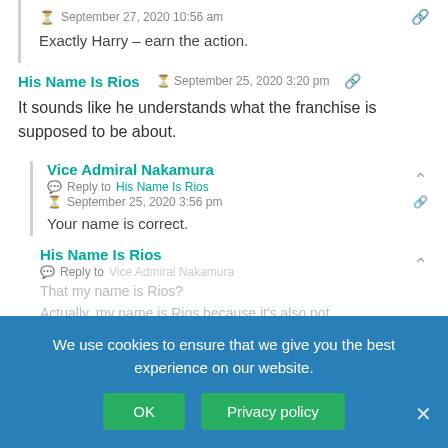September 27, 2020 10:56 am
Exactly Harry – earn the action.
His Name Is Rios  September 25, 2020 3:20 pm
It sounds like he understands what the franchise is supposed to be about.
Vice Admiral Nakamura
Reply to  His Name Is Rios
September 25, 2020 3:56 pm
Your name is correct.
His Name Is Rios
Reply to  Vice Admiral Nakamura
That my name is Rios?
Actually, my name is Rios because it's also not
We use cookies to ensure that we give you the best experience on our website.
OK
Privacy policy